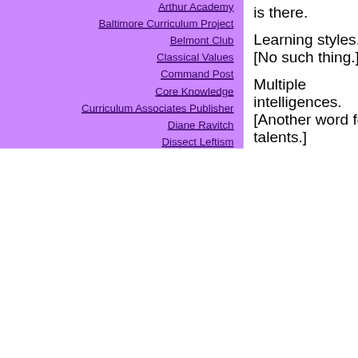Arthur Academy
Baltimore Curriculum Project
Belmont Club
Classical Values
Command Post
Core Knowledge
Curriculum Associates Publisher
Diane Ravitch
Dissect Leftism
Dr. Cookie
Ed Watch
EducationWonk
Front Page Magazine
Horsefeathers
Hube's Cube
Instructivist
Jihad Watch
Joanne Jacobs
is there.
Learning styles.  [No such thing.]
Multiple intelligences. [Another word for talents.]
Holistic. [Whatever you want it to mean.]
Naturalistic. [Like bark or mud.]
Authentic. ["Goodnight...